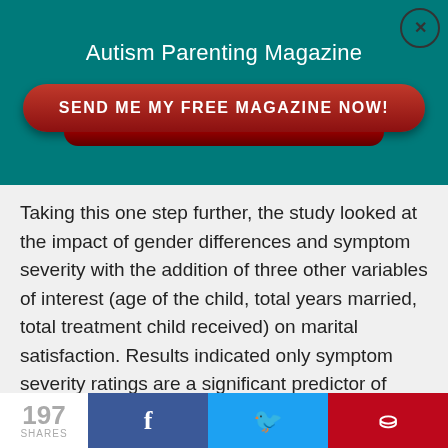Autism Parenting Magazine
[Figure (other): Red rounded-rectangle call-to-action button with text SEND ME MY FREE MAGAZINE NOW!]
Taking this one step further, the study looked at the impact of gender differences and symptom severity with the addition of three other variables of interest (age of the child, total years married, total treatment child received) on marital satisfaction. Results indicated only symptom severity ratings are a significant predictor of marital satisfaction.
197 SHARES  f  Twitter bird  Pinterest